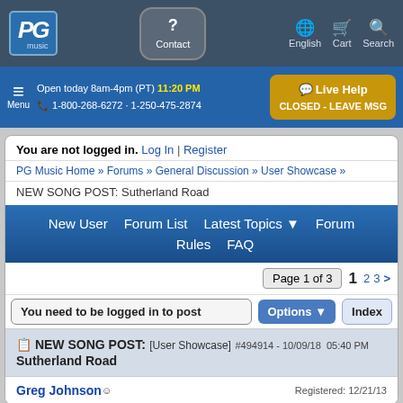PG Music | Contact | English | Cart | Search
Open today 8am-4pm (PT)  11:20 PM  1-800-268-6272 · 1-250-475-2874  Live Help CLOSED - LEAVE MSG
You are not logged in.  Log In | Register
PG Music Home » Forums » General Discussion » User Showcase » NEW SONG POST: Sutherland Road
New User   Forum List   Latest Topics ▾   Forum Rules   FAQ
Page 1 of 3  1  2  3  >
You need to be logged in to post  Options ▾  Index
NEW SONG POST:  [User Showcase]  #494914 - 10/09/18  05:40 PM  Sutherland Road
Greg Johnson  Registered: 12/21/13